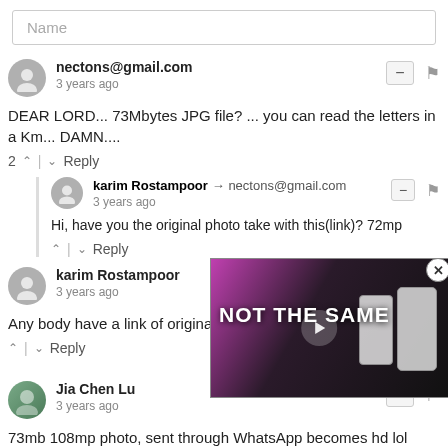Name
nectons@gmail.com
3 years ago
DEAR LORD... 73Mbytes JPG file? ... you can read the letters in a Km... DAMN....
2 ^ | v Reply
karim Rostampoor → nectons@gmail.com
3 years ago
Hi, have you the original photo take with this(link)? 72mp
^ | v Reply
karim Rostampoor
3 years ago
Any body have a link of original p
^ | v Reply
[Figure (screenshot): Video overlay showing 'NOT THE SAME' text over smartphone product comparison image with play button and close button]
Jia Chen Lu
3 years ago
73mb 108mp photo, sent through WhatsApp becomes hd lol